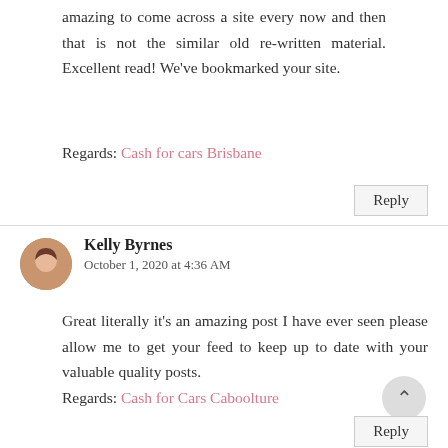amazing to come across a site every now and then that is not the similar old re-written material. Excellent read! We've bookmarked your site.
Regards: Cash for cars Brisbane
Reply
Kelly Byrnes
October 1, 2020 at 4:36 AM
Great literally it's an amazing post I have ever seen please allow me to get your feed to keep up to date with your valuable quality posts.
Regards: Cash for Cars Caboolture
Reply